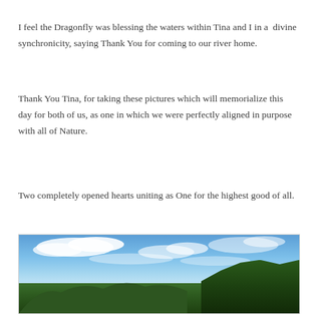I feel the Dragonfly was blessing the waters within Tina and I in a  divine synchronicity, saying Thank You for coming to our river home.
Thank You Tina, for taking these pictures which will memorialize this day for both of us, as one in which we were perfectly aligned in purpose with all of Nature.
Two completely opened hearts uniting as One for the highest good of all.
[Figure (photo): Outdoor nature photograph showing a blue sky with white clouds and green trees in the foreground and right side of the image.]